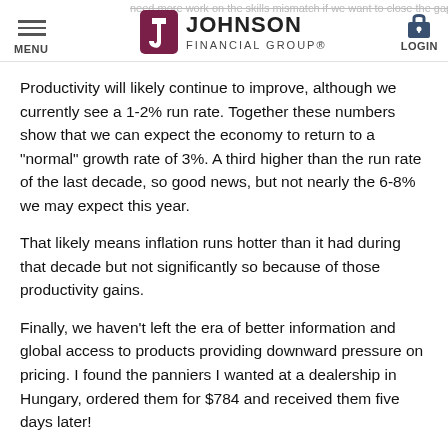need more work on the skills mismatch if we want to close the gap further. MENU | JOHNSON FINANCIAL GROUP® | LOGIN
Productivity will likely continue to improve, although we currently see a 1-2% run rate. Together these numbers show that we can expect the economy to return to a “normal” growth rate of 3%. A third higher than the run rate of the last decade, so good news, but not nearly the 6-8% we may expect this year.
That likely means inflation runs hotter than it had during that decade but not significantly so because of those productivity gains.
Finally, we haven’t left the era of better information and global access to products providing downward pressure on pricing. I found the panniers I wanted at a dealership in Hungary, ordered them for $784 and received them five days later!